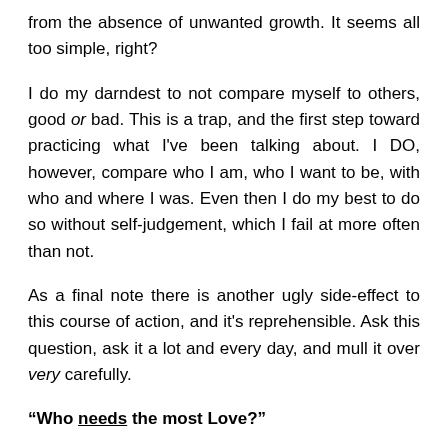from the absence of unwanted growth. It seems all too simple, right?
I do my darndest to not compare myself to others, good or bad. This is a trap, and the first step toward practicing what I've been talking about. I DO, however, compare who I am, who I want to be, with who and where I was. Even then I do my best to do so without self-judgement, which I fail at more often than not.
As a final note there is another ugly side-effect to this course of action, and it's reprehensible. Ask this question, ask it a lot and every day, and mull it over very carefully.
“Who needs the most Love?”
Is it the group or individual who collects it in torrents because we feel they're productive, beautiful, or famous…